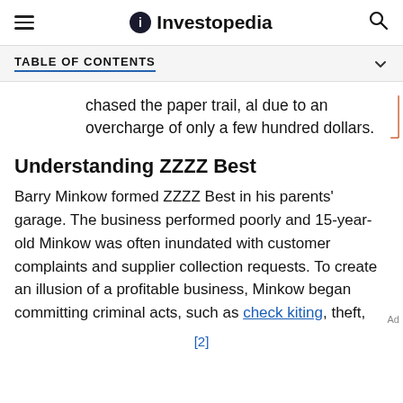Investopedia
TABLE OF CONTENTS
chased the paper trail, al due to an overcharge of only a few hundred dollars.
Understanding ZZZZ Best
Barry Minkow formed ZZZZ Best in his parents' garage. The business performed poorly and 15-year-old Minkow was often inundated with customer complaints and supplier collection requests. To create an illusion of a profitable business, Minkow began committing criminal acts, such as check kiting, theft,
[2]